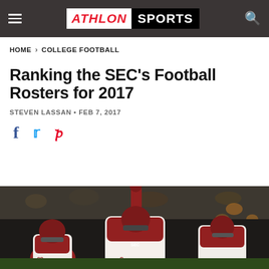Athlon Sports
HOME > COLLEGE FOOTBALL
Ranking the SEC's Football Rosters for 2017
STEVEN LASSAN • FEB 7, 2017
[Figure (illustration): Social sharing icons: Facebook (f), Twitter (bird), Pinterest (p)]
[Figure (photo): Alabama football players in white uniforms with crimson helmets celebrating on field, stadium crowd in background, player #88 and player #9 visible]